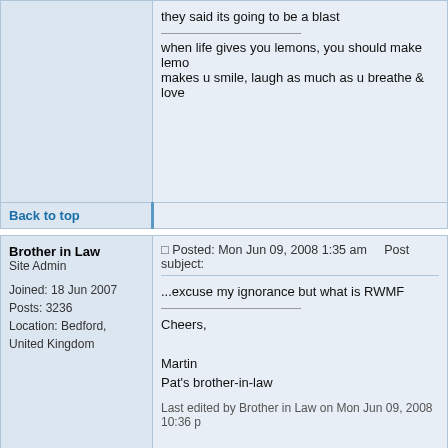they said its going to be a blast
when life gives you lemons, you should make lemo... makes u smile, laugh as much as u breathe & love...
Back to top
Brother in Law
Site Admin
Joined: 18 Jun 2007
Posts: 3236
Location: Bedford, United Kingdom
Posted: Mon Jun 09, 2008 1:35 am    Post subject:
...excuse my ignorance but what is RWMF
Cheers,

Martin
Pat's brother-in-law
Last edited by Brother in Law on Mon Jun 09, 2008 10:36 p...
Back to top
Pam
Extremist
Joined: 21 Jun 2007
Posts: 1020
Location: Sibu
Posted: Mon Jun 09, 2008 6:24 pm    Post subject:
Rainforest World Music Festival
http://www.rainforestmusic-borneo.com/2007/en/cl...
Yours Truly,